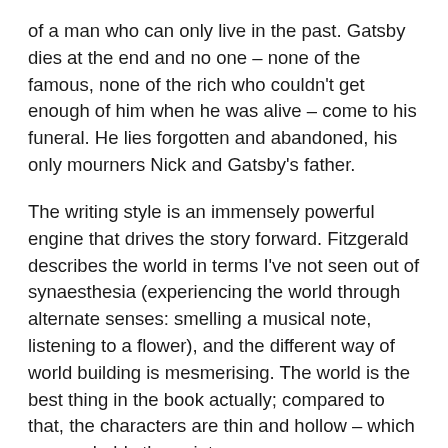of a man who can only live in the past. Gatsby dies at the end and no one – none of the famous, none of the rich who couldn't get enough of him when he was alive – come to his funeral. He lies forgotten and abandoned, his only mourners Nick and Gatsby's father.
The writing style is an immensely powerful engine that drives the story forward. Fitzgerald describes the world in terms I've not seen out of synaesthesia (experiencing the world through alternate senses: smelling a musical note, listening to a flower), and the different way of world building is mesmerising. The world is the best thing in the book actually; compared to that, the characters are thin and hollow – which was probably the point.
(Trivia of the day: The actress Sigourney Weaver took her stage name from a character in this book.)